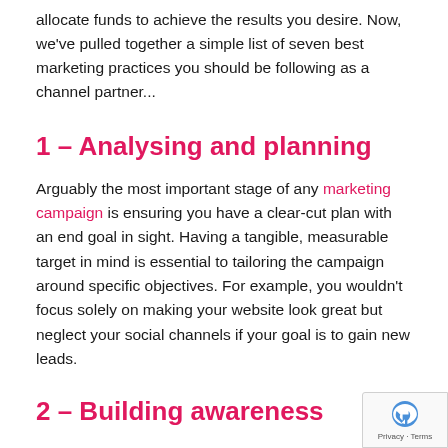allocate funds to achieve the results you desire. Now, we've pulled together a simple list of seven best marketing practices you should be following as a channel partner...
1 – Analysing and planning
Arguably the most important stage of any marketing campaign is ensuring you have a clear-cut plan with an end goal in sight. Having a tangible, measurable target in mind is essential to tailoring the campaign around specific objectives. For example, you wouldn't focus solely on making your website look great but neglect your social channels if your goal is to gain new leads.
2 – Building awareness
Once you have the foundations of your marketing campaign sorted, you should move onto growing